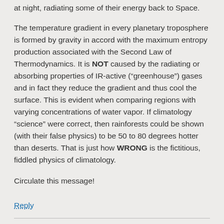at night, radiating some of their energy back to Space.
The temperature gradient in every planetary troposphere is formed by gravity in accord with the maximum entropy production associated with the Second Law of Thermodynamics. It is NOT caused by the radiating or absorbing properties of IR-active (“greenhouse”) gases and in fact they reduce the gradient and thus cool the surface. This is evident when comparing regions with varying concentrations of water vapor. If climatology “science” were correct, then rainforests could be shown (with their false physics) to be 50 to 80 degrees hotter than deserts. That is just how WRONG is the fictitious, fiddled physics of climatology.
Circulate this message!
Reply